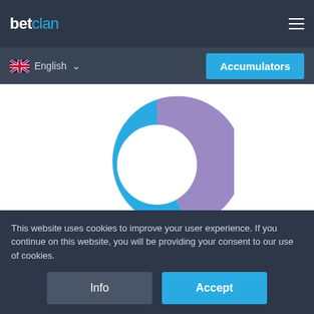betclan
English
Accumulators
[Figure (donut-chart): Under 2.5 vs Over 2.5]
Under 2.5   43%
Over 2.5   57%
This website uses cookies to improve your user experience. If you continue on this website, you will be providing your consent to our use of cookies.
Info
Accept